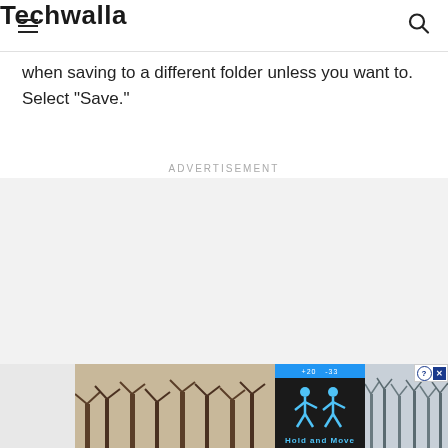Techwalla
when saving to a different folder unless you want to. Select "Save."
Advertisement
[Figure (photo): Advertisement area with a game app ad showing 'Hold and Move' text, trees background, and a dark center panel with blue icon]